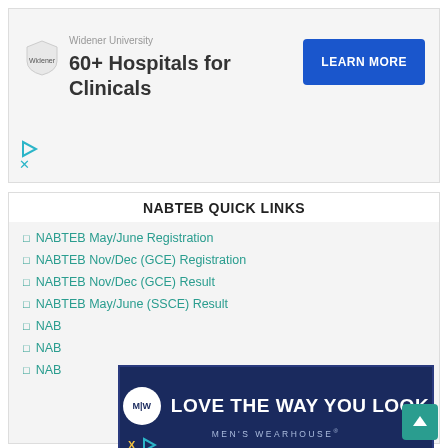[Figure (screenshot): Advertisement banner for Widener University showing logo, '60+ Hospitals for Clinicals' text, and a blue 'LEARN MORE' button]
NABTEB QUICK LINKS
□NABTEB May/June Registration
□NABTEB Nov/Dec (GCE) Registration
□NABTEB Nov/Dec (GCE) Result
□NABTEB May/June (SSCE) Result
□NAB...
□NAB...
□NAB...
[Figure (screenshot): Men's Wearhouse advertisement overlay with navy background, MW logo, 'LOVE THE WAY YOU LOOK' headline, and 'MEN'S WEARHOUSE' subtext]